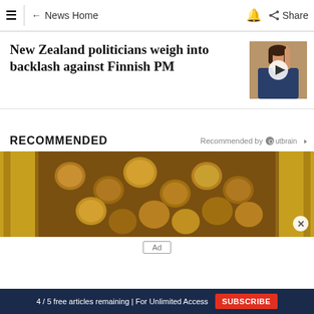≡ | ← News Home 🔔 Share
New Zealand politicians weigh into backlash against Finnish PM
[Figure (photo): Thumbnail photo of a woman holding up one finger, with a play button overlay indicating a video]
RECOMMENDED
Recommended by Outbrain
[Figure (photo): Banner advertisement image showing coins/gold nuggets with brown and golden tones]
Ad
4 / 5 free articles remaining | For Unlimited Access  SUBSCRIBE